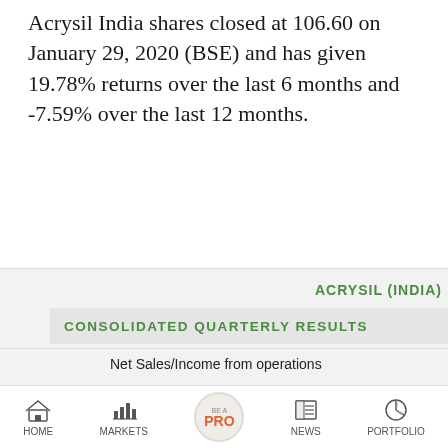Acrysil India shares closed at 106.60 on January 29, 2020 (BSE) and has given 19.78% returns over the last 6 months and -7.59% over the last 12 months.
ACRYSIL (INDIA)
CONSOLIDATED QUARTERLY RESULTS
Net Sales/Income from operations
Other Operating Income
HOME   MARKETS   BE A PRO   NEWS   PORTFOLIO